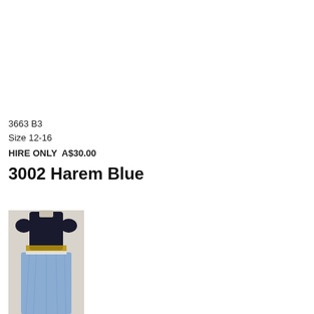3663 B3
Size 12-16
HIRE ONLY  A$30.00
3002 Harem Blue
[Figure (photo): A harem-style costume in blue consisting of a dark navy sequined crop top with short sleeves and a flowing sheer blue long skirt, displayed on a mannequin against a light background.]